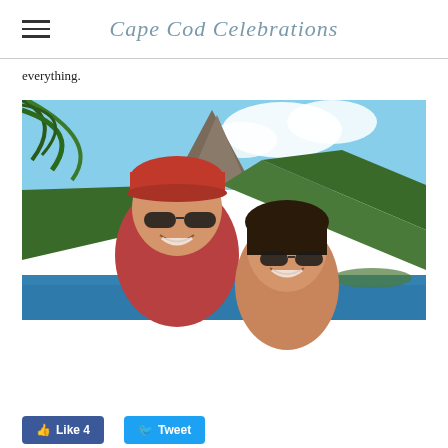Cape Cod Celebrations
everything.
[Figure (photo): A couple smiling outdoors on a boat with a tropical mountain and blue water in the background. The man wears a red cap and red shirt, the woman has sunglasses and dark hair. Green palm fronds are visible in the upper left corner.]
Like 4   Tweet